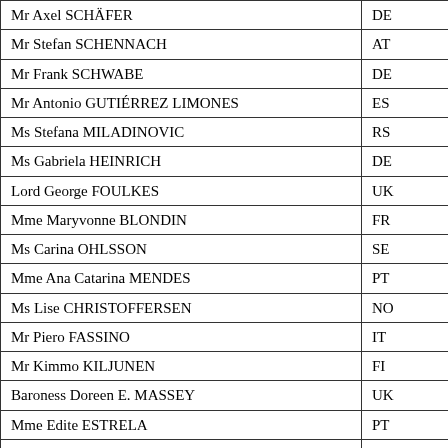| Name | Country |
| --- | --- |
| Mr Axel SCHÄFER | DE |
| Mr Stefan SCHENNACH | AT |
| Mr Frank SCHWABE | DE |
| Mr Antonio GUTIÉRREZ LIMONES | ES |
| Ms Stefana MILADINOVIC | RS |
| Ms Gabriela HEINRICH | DE |
| Lord George FOULKES | UK |
| Mme Maryvonne BLONDIN | FR |
| Ms Carina OHLSSON | SE |
| Mme Ana Catarina MENDES | PT |
| Ms Lise CHRISTOFFERSEN | NO |
| Mr Piero FASSINO | IT |
| Mr Kimmo KILJUNEN | FI |
| Baroness Doreen E. MASSEY | UK |
| Mme Edite ESTRELA | PT |
| Mr Domagoj HAJDUKOVIC | HR |
| Mr José CEPEDA | ES |